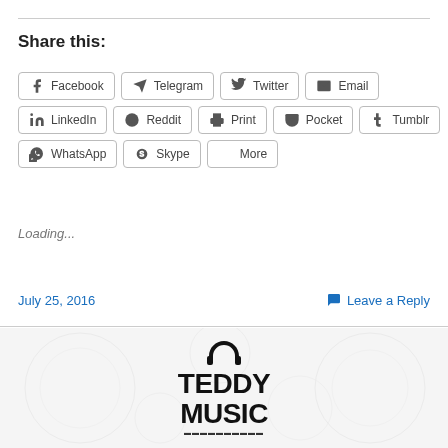Share this:
Facebook Telegram Twitter Email LinkedIn Reddit Print Pocket Tumblr WhatsApp Skype More
Loading...
July 25, 2016
Leave a Reply
[Figure (logo): Teddy Music logo with headphone icon and decorative background]